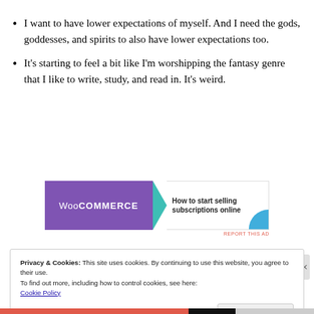I want to have lower expectations of myself. And I need the gods, goddesses, and spirits to also have lower expectations too.
It's starting to feel a bit like I'm worshipping the fantasy genre that I like to write, study, and read in. It's weird.
[Figure (other): WooCommerce advertisement banner: purple WooCommerce logo on left with teal arrow shape, right side shows 'How to start selling subscriptions online' with a blue circular graphic]
Privacy & Cookies: This site uses cookies. By continuing to use this website, you agree to their use.
To find out more, including how to control cookies, see here:
Cookie Policy
Close and accept